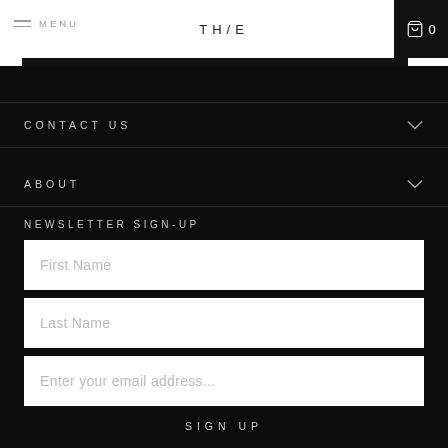MENU | TH/E | 0
CONTACT US
ABOUT
NEWSLETTER SIGN-UP
First Name
Last Name
Enter your email address...
SIGN UP